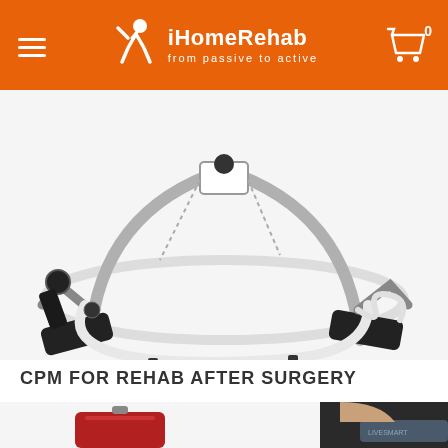iHomeRehab — from passive to active
[Figure (photo): CPM (Continuous Passive Motion) rehabilitation device — metal frame with foot pedals and white tubing, on white background]
CPM FOR REHAB AFTER SURGERY
[Figure (photo): Man wearing a shoulder rehabilitation device/brace on dark background, partially visible; also shows a red medical device case at bottom left]